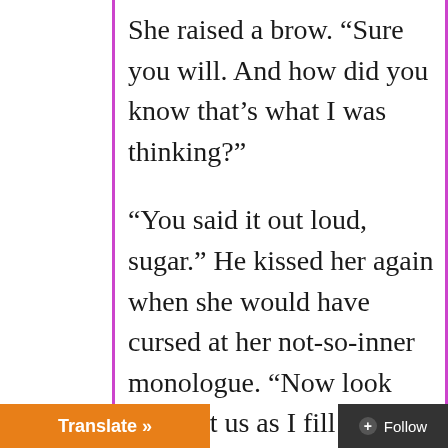She raised a brow. “Sure you will. And how did you know that’s what I was thinking?”
“You said it out loud, sugar.” He kissed her again when she would have cursed at her not-so-inner monologue. “Now look down at us as I fill you. I want you to watch my cock fill your sweet-as-fuck pussy. Once I’m balls-deep, then I want you to move your hips, move your body, just move. Be with me when I fuck you. Fuck me back. Make love. Have sex. Okay, Meg?”